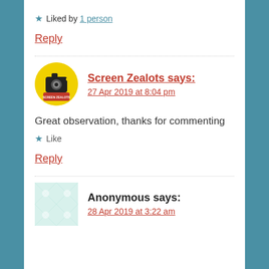★ Liked by 1 person
Reply
Screen Zealots says: 27 Apr 2019 at 8:04 pm
Great observation, thanks for commenting
★ Like
Reply
Anonymous says: 28 Apr 2019 at 3:22 am